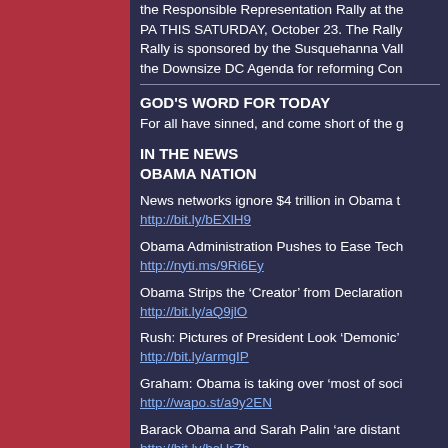the Responsible Representation Rally at the PA THIS SATURDAY, October 23. The Rally Rally is sponsored by the Susquehanna Vall the Downsize DC Agenda for reforming Con
GOD'S WORD FOR TODAY
For all have sinned, and come short of the g
IN THE NEWS
OBAMA NATION
News networks ignore $4 trillion in Obama t
http://bit.ly/bEXlH9
Obama Administration Pushes to Ease Tech
http://nyti.ms/9Ri6Ey
Obama Strips the ‘Creator’ from Declaration
http://bit.ly/aQ9jlO
Rush: Pictures of President Look ‘Demonic’
http://bit.ly/armgIP
Graham: Obama is taking over ‘most of soci
http://wapo.st/a9y2EN
Barack Obama and Sarah Palin ‘are distant
http://bit.ly/bcHrZh
OBAMA CARE